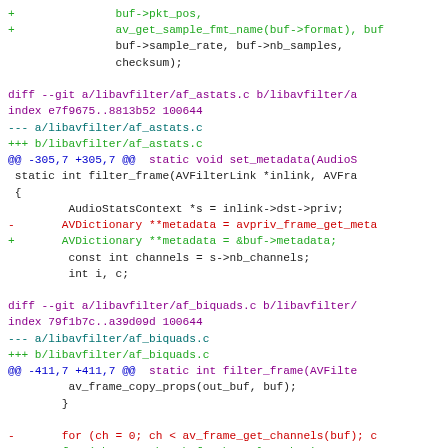[Figure (screenshot): A git diff code block showing changes to libavfilter source files (af_astats.c and af_biquads.c), with colored lines indicating additions (+) in green, removals (-) in red, diff headers in purple, and context lines in black/dark.]